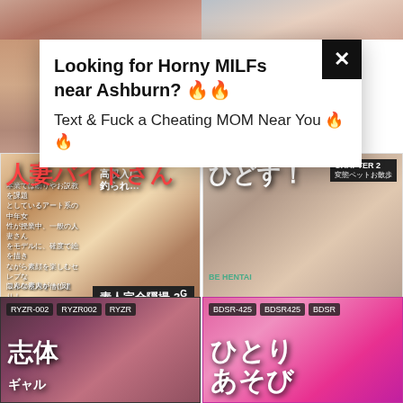[Figure (screenshot): Adult video website screenshot with popup ad and video thumbnails]
Looking for Horny MILFs near Ashburn? 🔥🔥
Text & Fuck a Cheating MOM Near You 🔥🔥
[SPZ-1079]How Far Will She Go?! Married Woman Working Part Time As A
[SDAM-049]She's Reporting At A Spa In Just A Towel And Gets Fucked
RYZR-002 RYZR002 RYZR
BDSR-425 BDSR425 BDSR